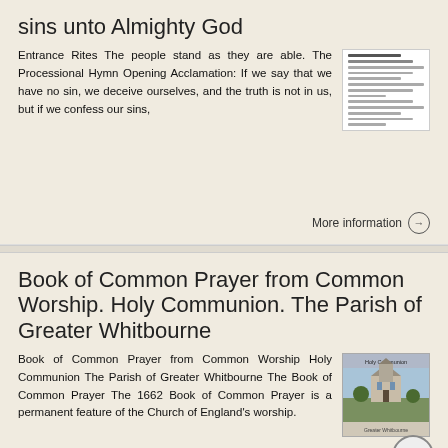sins unto Almighty God
Entrance Rites The people stand as they are able. The Processional Hymn Opening Acclamation: If we say that we have no sin, we deceive ourselves, and the truth is not in us, but if we confess our sins,
[Figure (other): Thumbnail of a document page with text lines]
More information →
Book of Common Prayer from Common Worship. Holy Communion. The Parish of Greater Whitbourne
Book of Common Prayer from Common Worship Holy Communion The Parish of Greater Whitbourne The Book of Common Prayer The 1662 Book of Common Prayer is a permanent feature of the Church of England's worship.
[Figure (photo): Thumbnail photo of a church building on a book cover with title Holy Communion]
More information →